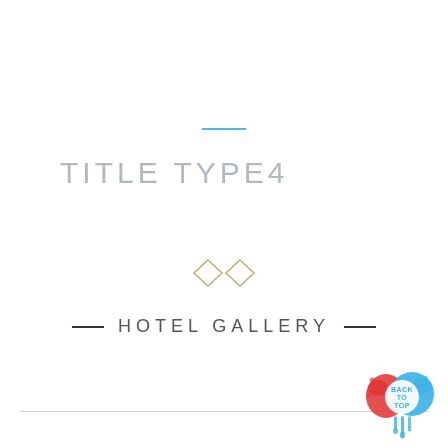TITLE TYPE4
[Figure (illustration): Two overlapping diamond/rhombus shapes in golden/tan outline forming a decorative divider icon]
— HOTEL GALLERY —
[Figure (illustration): Back to Top badge: blue and red paint splash circle with white text BACK TO TOP and blue drips]